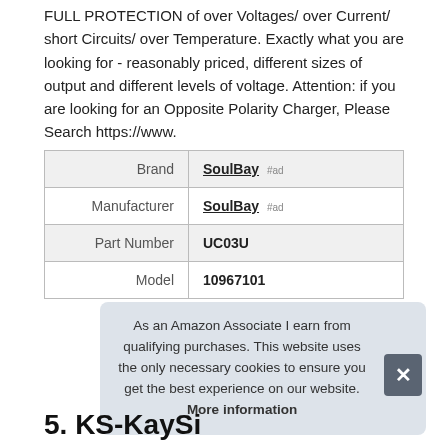FULL PROTECTION of over Voltages/ over Current/ short Circuits/ over Temperature. Exactly what you are looking for - reasonably priced, different sizes of output and different levels of voltage. Attention: if you are looking for an Opposite Polarity Charger, Please Search https://www.
| Brand | SoulBay #ad |
| Manufacturer | SoulBay #ad |
| Part Number | UC03U |
| Model | 10967101 |
As an Amazon Associate I earn from qualifying purchases. This website uses the only necessary cookies to ensure you get the best experience on our website. More information
5. KS-KaySi